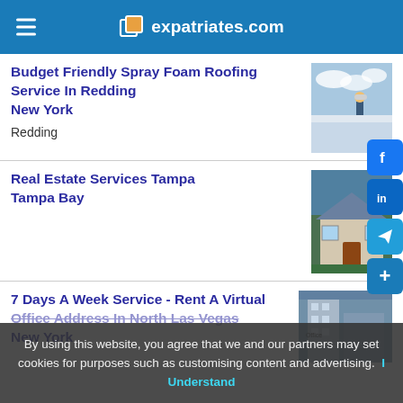expatriates.com
Budget Friendly Spray Foam Roofing Service In Redding New York
Redding
Real Estate Services Tampa Tampa Bay
7 Days A Week Service - Rent A Virtual Office Address In North Las Vegas New York
By using this website, you agree that we and our partners may set cookies for purposes such as customising content and advertising. I Understand